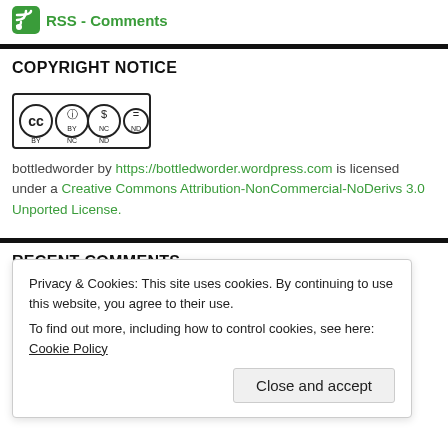RSS - Comments
COPYRIGHT NOTICE
[Figure (logo): Creative Commons BY NC ND license badge]
bottledworder by https://bottledworder.wordpress.com is licensed under a Creative Commons Attribution-NonCommercial-NoDerivs 3.0 Unported License.
RECENT COMMENTS
Privacy & Cookies: This site uses cookies. By continuing to use this website, you agree to their use. To find out more, including how to control cookies, see here: Cookie Policy
Close and accept